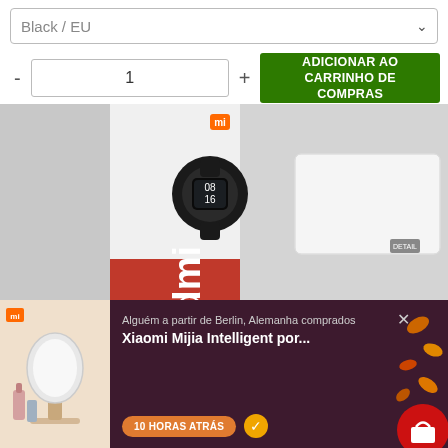Black / EU
1
ADICIONAR AO CARRINHO DE COMPRAS
[Figure (photo): Xiaomi Redmi smart band product box with smartwatch visible on box art, alongside white accessory box, on gray background]
Alguém a partir de Berlin, Alemanha comprados
Xiaomi Mijia Intelligent por...
10 HORAS ATRÁS